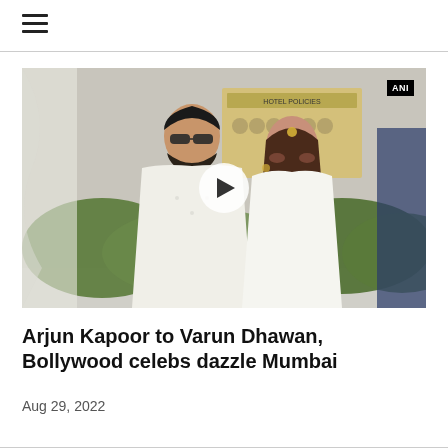≡
[Figure (photo): Two Bollywood celebrities posing together outdoors. A man wearing sunglasses and a white outfit stands next to a woman in a white ensemble. A hotel policies sign and greenery are visible in the background. ANI watermark in top right corner. Video play button overlay in center.]
Arjun Kapoor to Varun Dhawan, Bollywood celebs dazzle Mumbai
Aug 29, 2022